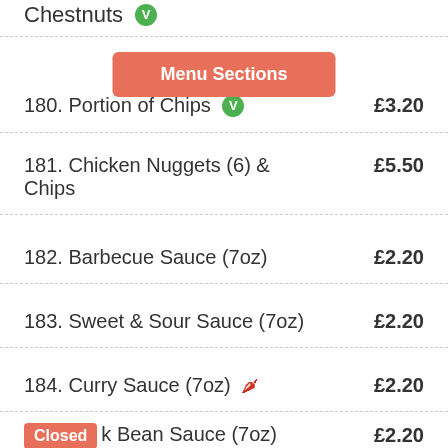Chestnuts
Menu Sections
180. Portion of Chips  £3.20
181. Chicken Nuggets (6) & Chips  £5.50
182. Barbecue Sauce (7oz)  £2.20
183. Sweet & Sour Sauce (7oz)  £2.20
184. Curry Sauce (7oz)  £2.20
185. Black Bean Sauce (7oz)  £2.20